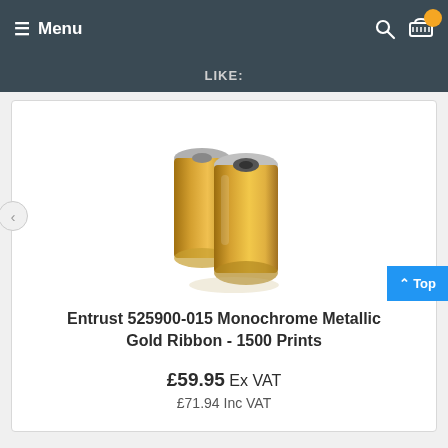Menu
LIKE:
[Figure (photo): Two gold metallic ribbon cartridges side by side on a white background]
Entrust 525900-015 Monochrome Metallic Gold Ribbon - 1500 Prints
£59.95 Ex VAT
£71.94 Inc VAT